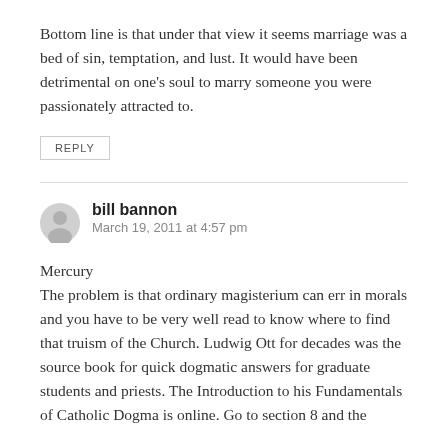Bottom line is that under that view it seems marriage was a bed of sin, temptation, and lust. It would have been detrimental on one's soul to marry someone you were passionately attracted to.
REPLY
bill bannon
March 19, 2011 at 4:57 pm
Mercury
The problem is that ordinary magisterium can err in morals and you have to be very well read to know where to find that truism of the Church. Ludwig Ott for decades was the source book for quick dogmatic answers for graduate students and priests. The Introduction to his Fundamentals of Catholic Dogma is online. Go to section 8 and the